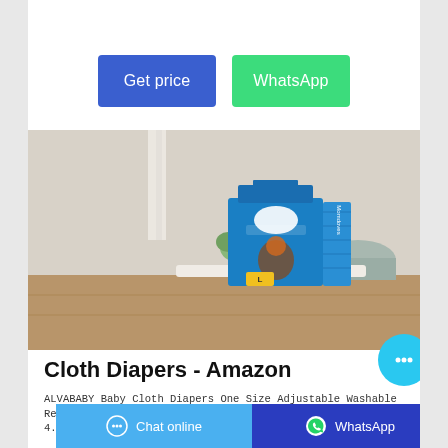[Figure (other): Two buttons: 'Get price' (blue) and 'WhatsApp' (green)]
[Figure (photo): Product photo of Momdoves Baby Wipes/Diapers box (blue packaging) on a wooden table with white background]
Cloth Diapers - Amazon
ALVABABY Baby Cloth Diapers One Size Adjustable Washable Reusable for Baby Girls and Boys 6 Pack with 12 Inserts 4.8 out of 5 stars 555 $39.99 $ 39 . 99 ($39.99/Count)
[Figure (other): Bottom bar with 'Chat online' (light blue) and 'WhatsApp' (dark blue) buttons, and a cyan chat bubble icon on the right]